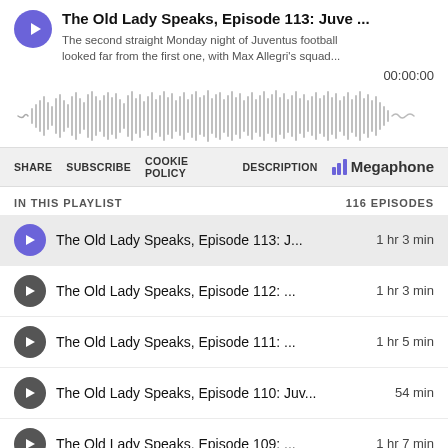The Old Lady Speaks, Episode 113: Juve ...
The second straight Monday night of Juventus football looked far from the first one, with Max Allegri's squad...
00:00:00
[Figure (other): Audio waveform visualization in grayscale]
SHARE  SUBSCRIBE  COOKIE POLICY  DESCRIPTION  Megaphone
IN THIS PLAYLIST   116 EPISODES
The Old Lady Speaks, Episode 113: J...  1 hr 3 min
The Old Lady Speaks, Episode 112: ...  1 hr 3 min
The Old Lady Speaks, Episode 111: ...  1 hr 5 min
The Old Lady Speaks, Episode 110: Juv...  54 min
The Old Lady Speaks, Episode 109: ...  1 hr 7 min